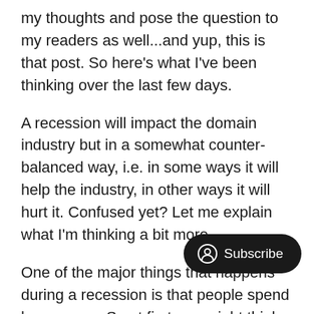my thoughts and pose the question to my readers as well...and yup, this is that post. So here's what I've been thinking over the last few days.
A recession will impact the domain industry but in a somewhat counter-balanced way, i.e. in some ways it will help the industry, in other ways it will hurt it. Confused yet? Let me explain what I'm thinking a bit more.
One of the major things that happens during a recession is that people spend less money. So at first you might think, okay so budgets will drop for domain names then...yes and no. Do offer huge marketing benefits for often saving them a small fortune in marketing costs. Here's an example.